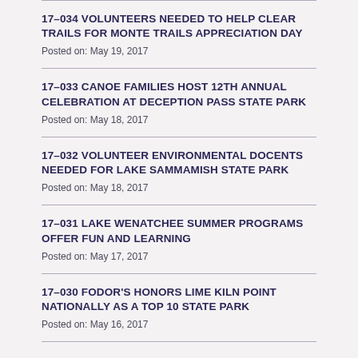17-034 VOLUNTEERS NEEDED TO HELP CLEAR TRAILS FOR MONTE TRAILS APPRECIATION DAY
Posted on: May 19, 2017
17-033 CANOE FAMILIES HOST 12TH ANNUAL CELEBRATION AT DECEPTION PASS STATE PARK
Posted on: May 18, 2017
17-032 VOLUNTEER ENVIRONMENTAL DOCENTS NEEDED FOR LAKE SAMMAMISH STATE PARK
Posted on: May 18, 2017
17-031 LAKE WENATCHEE SUMMER PROGRAMS OFFER FUN AND LEARNING
Posted on: May 17, 2017
17-030 FODOR'S HONORS LIME KILN POINT NATIONALLY AS A TOP 10 STATE PARK
Posted on: May 16, 2017